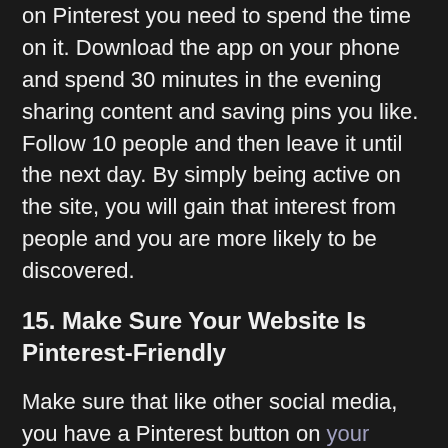on Pinterest you need to spend the time on it. Download the app on your phone and spend 30 minutes in the evening sharing content and saving pins you like. Follow 10 people and then leave it until the next day. By simply being active on the site, you will gain that interest from people and you are more likely to be discovered.
15. Make Sure Your Website Is Pinterest-Friendly
Make sure that like other social media, you have a Pinterest button on your website so that people can go on and follow you. You will also want to add the option for people to pin your content too. If you are a Wordpress user, you can use plugins to achieve this. It will make it much easier for people to see your content, pin it and have it there for the future if they want it. You will also find that you'll gain more followers through your website by